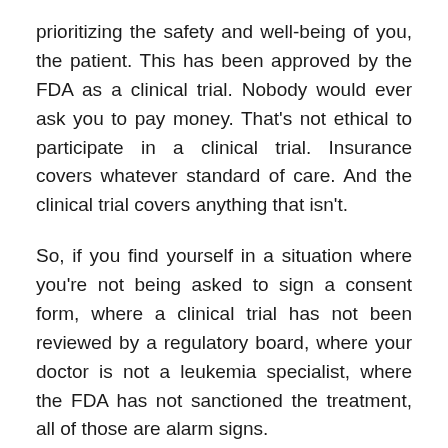prioritizing the safety and well-being of you, the patient. This has been approved by the FDA as a clinical trial. Nobody would ever ask you to pay money. That's not ethical to participate in a clinical trial. Insurance covers whatever standard of care. And the clinical trial covers anything that isn't.
So, if you find yourself in a situation where you're not being asked to sign a consent form, where a clinical trial has not been reviewed by a regulatory board, where your doctor is not a leukemia specialist, where the FDA has not sanctioned the treatment, all of those are alarm signs.
Because there are some other treatments out